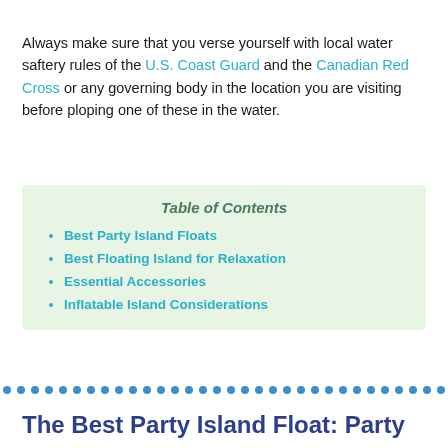Always make sure that you verse yourself with local water saftery rules of the U.S. Coast Guard and the Canadian Red Cross or any governing body in the location you are visiting before ploping one of these in the water.
| Table of Contents |
| Best Party Island Floats |
| Best Floating Island for Relaxation |
| Essential Accessories |
| Inflatable Island Considerations |
[Figure (other): A row of teal/blue dots acting as a decorative divider]
The Best Party Island Float: Party